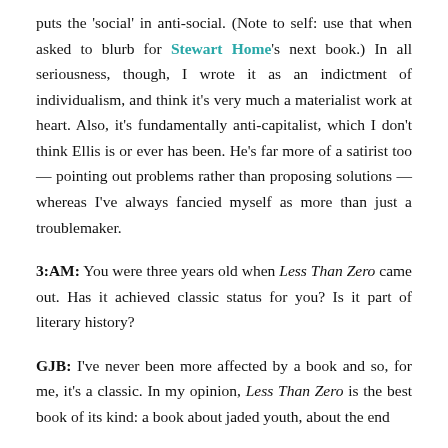puts the 'social' in anti-social. (Note to self: use that when asked to blurb for Stewart Home's next book.) In all seriousness, though, I wrote it as an indictment of individualism, and think it's very much a materialist work at heart. Also, it's fundamentally anti-capitalist, which I don't think Ellis is or ever has been. He's far more of a satirist too — pointing out problems rather than proposing solutions — whereas I've always fancied myself as more than just a troublemaker.
3:AM: You were three years old when Less Than Zero came out. Has it achieved classic status for you? Is it part of literary history?
GJB: I've never been more affected by a book and so, for me, it's a classic. In my opinion, Less Than Zero is the best book of its kind: a book about jaded youth, about the end